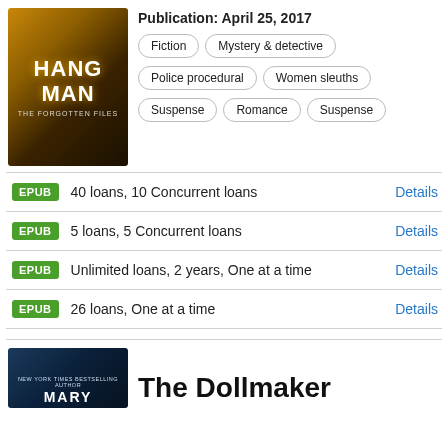[Figure (illustration): Book cover for Hang Man - The Forgotten Files, dark warm background with white bold text]
Publication: April 25, 2017
Fiction
Mystery & detective
Police procedural
Women sleuths
Suspense
Romance
Suspense
EPUB  40 loans, 10 Concurrent loans  Details
EPUB  5 loans, 5 Concurrent loans  Details
EPUB  Unlimited loans, 2 years, One at a time  Details
EPUB  26 loans, One at a time  Details
[Figure (illustration): Book cover for The Dollmaker, dark blue background with author name Mary and book title]
The Dollmaker